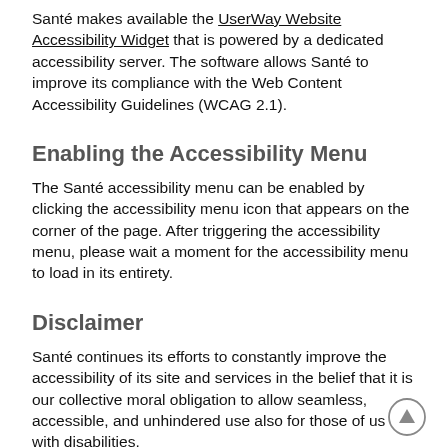Santé makes available the UserWay Website Accessibility Widget that is powered by a dedicated accessibility server. The software allows Santé to improve its compliance with the Web Content Accessibility Guidelines (WCAG 2.1).
Enabling the Accessibility Menu
The Santé accessibility menu can be enabled by clicking the accessibility menu icon that appears on the corner of the page. After triggering the accessibility menu, please wait a moment for the accessibility menu to load in its entirety.
Disclaimer
Santé continues its efforts to constantly improve the accessibility of its site and services in the belief that it is our collective moral obligation to allow seamless, accessible, and unhindered use also for those of us with disabilities.
Despite our efforts to make all pages and content on Santé fully accessible, some content may not have yet been fully adapted to the strictest accessibility standards. This may be a